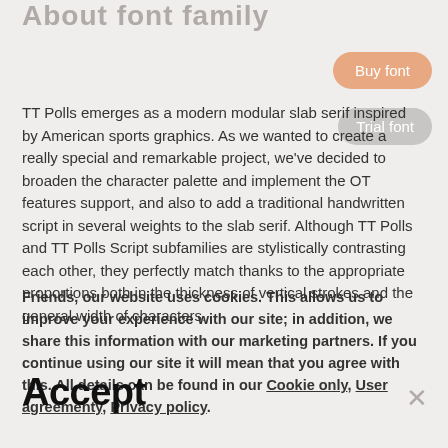About font family
[Figure (other): Buy font button (orange pill-shaped button)]
[Figure (other): Trial font button (gray pill-shaped button)]
TT Polls emerges as a modern modular slab serif inspired by American sports graphics. As we wanted to create a really special and remarkable project, we've decided to broaden the character palette and implement the OT features support, and also to add a traditional handwritten script in several weights to the slab serif. Although TT Polls and TT Polls Script subfamilies are stylistically contrasting each other, they perfectly match thanks to the appropriate proportions both in the thickness of vertical strokes and the general width of characters.
Friends, our website uses cookies. This allows us to improve your experience with our site; in addition, we share this information with our marketing partners. If you continue using our site it will mean that you agree with this. All details can be found in our Cookie only, User agreementy, Privacy policy.
Accept
×